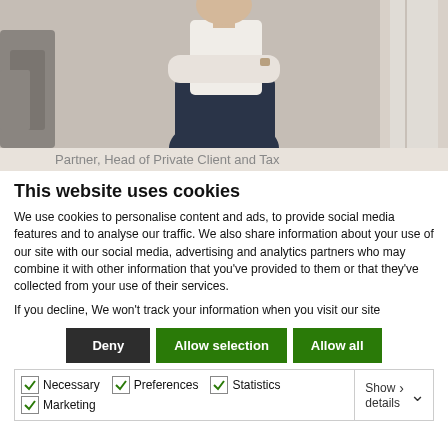[Figure (photo): Person with arms crossed wearing white top and dark skirt, standing in an office environment]
Partner, Head of Private Client and Tax
This website uses cookies
We use cookies to personalise content and ads, to provide social media features and to analyse our traffic. We also share information about your use of our site with our social media, advertising and analytics partners who may combine it with other information that you've provided to them or that they've collected from your use of their services.
If you decline, We won't track your information when you visit our site
Deny | Allow selection | Allow all
Necessary  Preferences  Statistics  Marketing  Show details